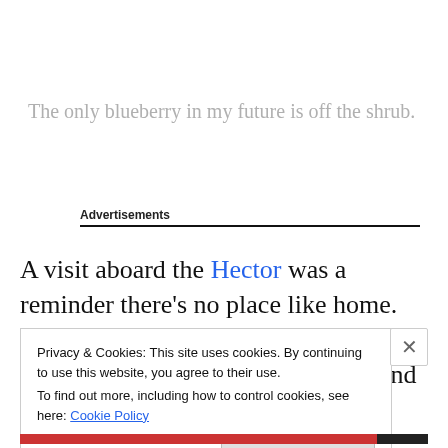The only blueberry in my future is off the shrub.
Advertisements
A visit aboard the Hector was a reminder there’s no place like home. This replica of the ship that made Pictou the birthplace of New Scotland provides a glimpse into the
Privacy & Cookies: This site uses cookies. By continuing to use this website, you agree to their use.
To find out more, including how to control cookies, see here: Cookie Policy
Close and accept